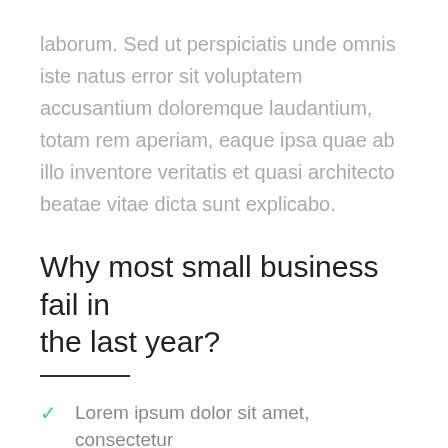laborum. Sed ut perspiciatis unde omnis iste natus error sit voluptatem accusantium doloremque laudantium, totam rem aperiam, eaque ipsa quae ab illo inventore veritatis et quasi architecto beatae vitae dicta sunt explicabo.
Why most small business fail in the last year?
Lorem ipsum dolor sit amet, consectetur
Adipisicing elit, sed do eiusmod tempor incididunt